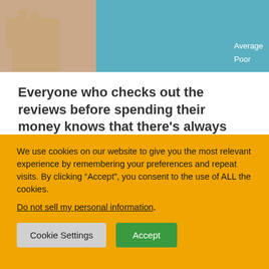[Figure (photo): Partial image showing a hand/fist and a blue panel with rating text including 'Average' and 'Poor' in white text on teal/blue background]
Everyone who checks out the reviews before spending their money knows that there's always “that” one…
Maybe when giving online reviews was a relatively new thing a decade or so ago, it was taken pretty seriously and companies would strive to avoid anything less than top…
We use cookies on our website to give you the most relevant experience by remembering your preferences and repeat visits. By clicking “Accept”, you consent to the use of ALL the cookies.
Do not sell my personal information.
Cookie Settings  Accept